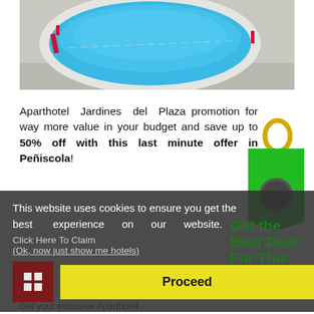[Figure (photo): Overhead photo of an outdoor swimming pool with blue water set in a concrete deck area]
Aparthotel Jardines del Plaza promotion for way more value in your budget and save up to 50% off with this last minute offer in Peñiscola!
This website uses cookies to ensure you get the best experience on our website.
Click Here To Claim
(Ok, now just show me hotels)
Proceed
Get the Best Deal For This
Get your exclusive Aparthotel